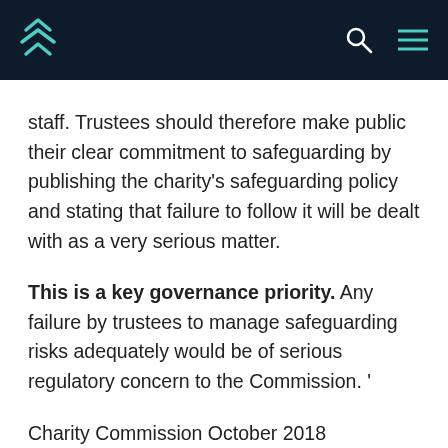Navigation header with logo, search and menu icons
staff. Trustees should therefore make public their clear commitment to safeguarding by publishing the charity's safeguarding policy and stating that failure to follow it will be dealt with as a very serious matter.

This is a key governance priority. Any failure by trustees to manage safeguarding risks adequately would be of serious regulatory concern to the Commission. '
Charity Commission October 2018
Third party events listed on this site are published here at the discretion of the Cultural Governance